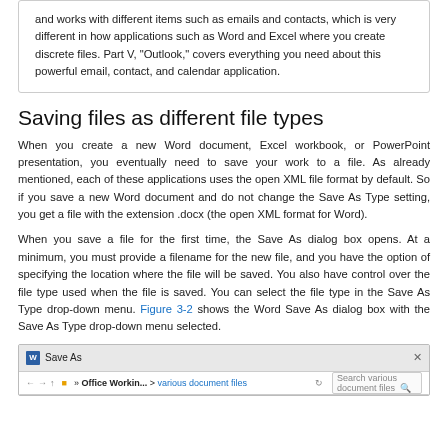and works with different items such as emails and contacts, which is very different in how applications such as Word and Excel where you create discrete files. Part V, "Outlook," covers everything you need about this powerful email, contact, and calendar application.
Saving files as different file types
When you create a new Word document, Excel workbook, or PowerPoint presentation, you eventually need to save your work to a file. As already mentioned, each of these applications uses the open XML file format by default. So if you save a new Word document and do not change the Save As Type setting, you get a file with the extension .docx (the open XML format for Word).
When you save a file for the first time, the Save As dialog box opens. At a minimum, you must provide a filename for the new file, and you have the option of specifying the location where the file will be saved. You also have control over the file type used when the file is saved. You can select the file type in the Save As Type drop-down menu. Figure 3-2 shows the Word Save As dialog box with the Save As Type drop-down menu selected.
[Figure (screenshot): Screenshot of the Windows Save As dialog box showing the title bar with Word icon and 'Save As' label, navigation arrows, and address bar showing 'Office Workin... > various document files' with a search box 'Search various document files'.]